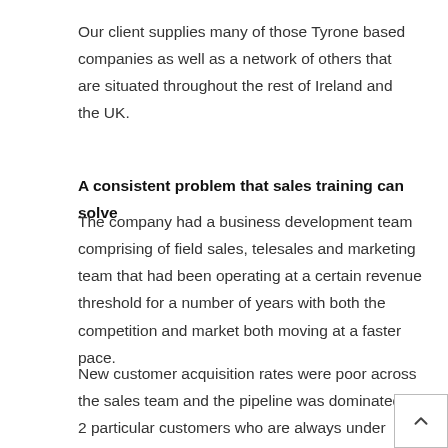Our client supplies many of those Tyrone based companies as well as a network of others that are situated throughout the rest of Ireland and the UK.
A consistent problem that sales training can solve
The company had a business development team comprising of field sales, telesales and marketing team that had been operating at a certain revenue threshold for a number of years with both the competition and market both moving at a faster pace.
New customer acquisition rates were poor across the sales team and the pipeline was dominated by 2 particular customers who are always under threat from competitors. The management team were well aware of the underperformance but unsure as to the best way to